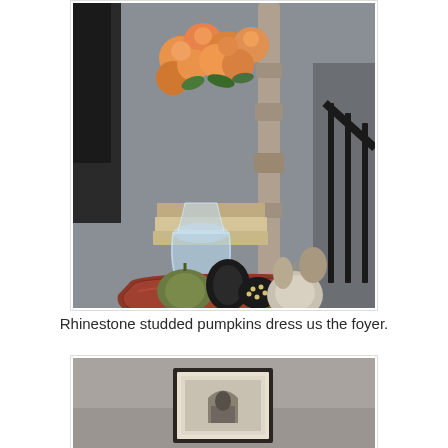[Figure (photo): Indoor home decor scene showing a side table arrangement with a crystal vase holding orange roses, a tall rustic candlestick, stacked books, and a decorative tray holding various rhinestone-studded and fabric pumpkins in black, green, and white/cream colors.]
Rhinestone studded pumpkins dress us the foyer.
[Figure (photo): Interior room scene showing a framed artwork or mirror on a gray/taupe wall, partially visible, with muted tones.]